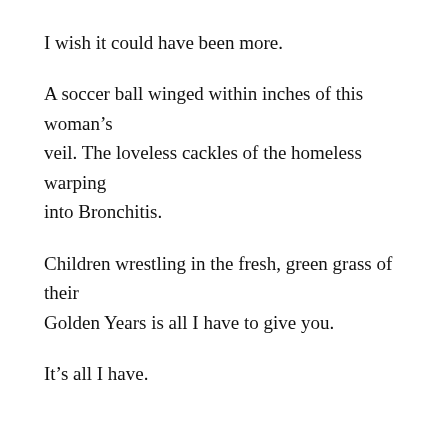I wish it could have been more.
A soccer ball winged within inches of this woman's
veil. The loveless cackles of the homeless warping
into Bronchitis.
Children wrestling in the fresh, green grass of their
Golden Years is all I have to give you.
It’s all I have.